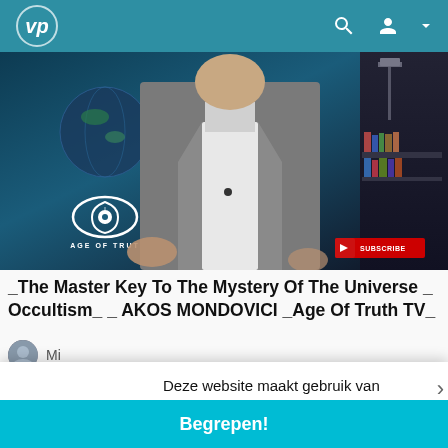VP (logo) — navigation bar with search and account icons
[Figure (screenshot): Video thumbnail showing a man in a grey suit jacket standing in front of a screen displaying 'AGE OF TRUTH' logo. There is a YouTube SUBSCRIBE badge in the bottom right corner. Background shows a bookshelf and lamp on the right.]
_The Master Key To The Mystery Of The Universe _ Occultism_ _ AKOS MONDOVICI _Age Of Truth TV_
Mi
Deze website maakt gebruik van cookies om ervoor te zorgen dat u de beste ervaring op onze website krijgt. Kom meer te weten
Best
gebr
Begrepen!